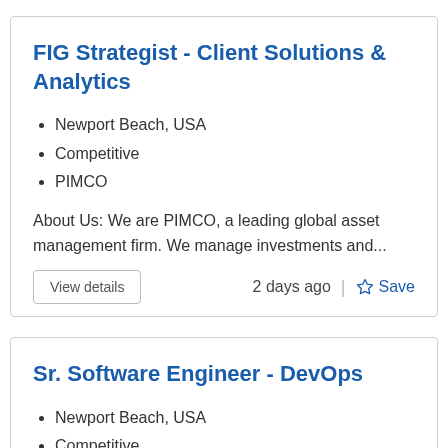FIG Strategist - Client Solutions & Analytics
Newport Beach, USA
Competitive
PIMCO
About Us: We are PIMCO, a leading global asset management firm. We manage investments and...
View details
2 days ago
Save
Sr. Software Engineer - DevOps
Newport Beach, USA
Competitive